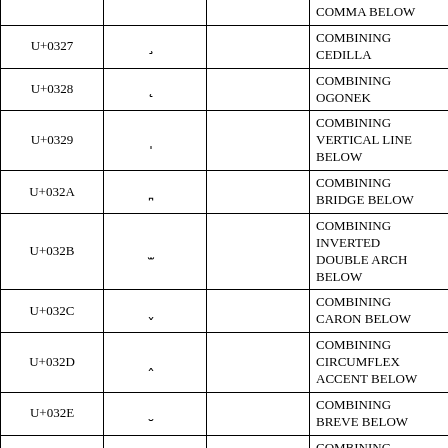| Code | Glyph |  | Name |
| --- | --- | --- | --- |
|  |  |  | COMMA BELOW |
| U+0327 | ̧ |  | COMBINING CEDILLA |
| U+0328 | ̨ |  | COMBINING OGONEK |
| U+0329 | ̩ |  | COMBINING VERTICAL LINE BELOW |
| U+032A | ̪ |  | COMBINING BRIDGE BELOW |
| U+032B | ̫ |  | COMBINING INVERTED DOUBLE ARCH BELOW |
| U+032C | ̬ |  | COMBINING CARON BELOW |
| U+032D | ̭ |  | COMBINING CIRCUMFLEX ACCENT BELOW |
| U+032E | ̮ |  | COMBINING BREVE BELOW |
| U+032F | ̯ |  | COMBINING INVERTED BREVE BELOW |